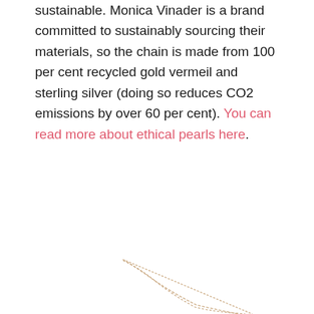sustainable. Monica Vinader is a brand committed to sustainably sourcing their materials, so the chain is made from 100 per cent recycled gold vermeil and sterling silver (doing so reduces CO2 emissions by over 60 per cent). You can read more about ethical pearls here.
[Figure (photo): Close-up photo of a delicate gold/silver necklace chain forming a V-shape against a white background, showing two diagonal strands of fine chain links meeting at a lower point.]